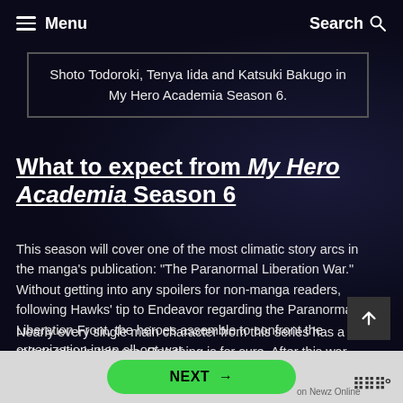Menu   Search
Shoto Todoroki, Tenya Iida and Katsuki Bakugo in My Hero Academia Season 6.
What to expect from My Hero Academia Season 6
This season will cover one of the most climatic story arcs in the manga's publication: "The Paranormal Liberation War." Without getting into any spoilers for non-manga readers, following Hawks' tip to Endeavor regarding the Paranormal Liberation Front, the heroes assemble to confront the organization in an all-out war.
Nearly every single main character from this series has a vital role to play in this arc. One thing is for sure. After this war ends, nothing will ever be the same.
NEXT →   on Newz Online